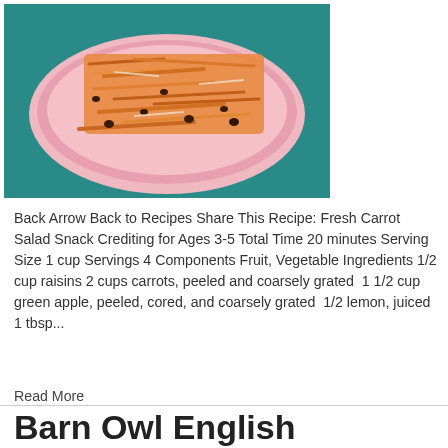[Figure (photo): A pink bowl filled with shredded carrot salad with raisins, on a teal background, viewed from above]
Back Arrow Back to Recipes Share This Recipe: Fresh Carrot Salad Snack Crediting for Ages 3-5 Total Time 20 minutes Serving Size 1 cup Servings 4 Components Fruit, Vegetable Ingredients 1/2 cup raisins 2 cups carrots, peeled and coarsely grated  1 1/2 cup green apple, peeled, cored, and coarsely grated  1/2 lemon, juiced 1 tbsp...
Read More
Barn Owl English